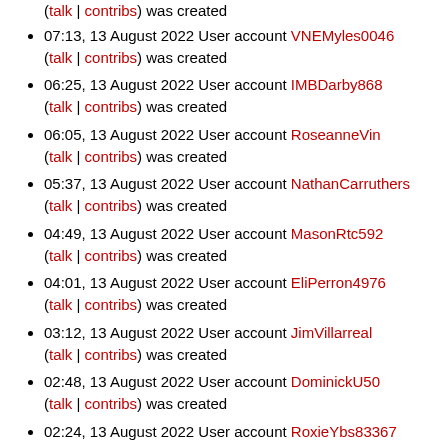(talk | contribs) was created
07:13, 13 August 2022 User account VNEMyles0046 (talk | contribs) was created
06:25, 13 August 2022 User account IMBDarby868 (talk | contribs) was created
06:05, 13 August 2022 User account RoseanneVin (talk | contribs) was created
05:37, 13 August 2022 User account NathanCarruthers (talk | contribs) was created
04:49, 13 August 2022 User account MasonRtc592 (talk | contribs) was created
04:01, 13 August 2022 User account EliPerron4976 (talk | contribs) was created
03:12, 13 August 2022 User account JimVillarreal (talk | contribs) was created
02:48, 13 August 2022 User account DominickU50 (talk | contribs) was created
02:24, 13 August 2022 User account RoxieYbs83367 (talk | contribs) was created
01:36, 13 August 2022 User account VickyNunn836978